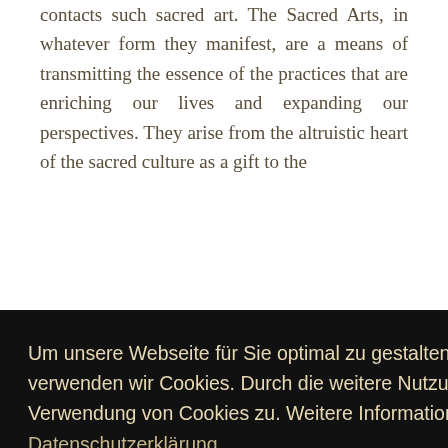contacts such sacred art. The Sacred Arts, in whatever form they manifest, are a means of transmitting the essence of the practices that are enriching our lives and expanding our perspectives. They arise from the altruistic heart of the sacred culture as a gift to the
Um unsere Webseite für Sie optimal zu gestalten und fortlaufend verbessern zu können, verwenden wir Cookies. Durch die weitere Nutzung der Webseite stimmen Sie der Verwendung von Cookies zu. Weitere Informationen zu Cookies erhalten Sie in unserer Datenschutzerklärung
Verstanden
Sacred Arts we transmit the essence of the